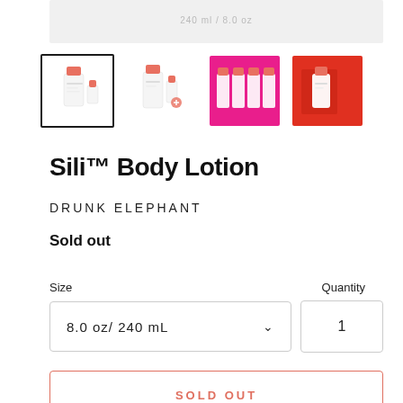[Figure (photo): Gray rectangular image placeholder strip at the top, partially cropped, showing a faint label text]
[Figure (photo): Row of four product thumbnails: first selected with black border showing white lotion bottle with coral cap, second showing same bottle with smaller bottle, third pink background with multiple bottles, fourth red/coral background with bottle]
Sili™ Body Lotion
DRUNK ELEPHANT
Sold out
Size
Quantity
8.0 oz/ 240 mL
1
SOLD OUT